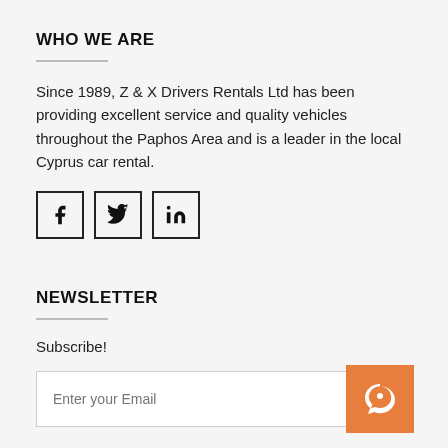WHO WE ARE
Since 1989, Z & X Drivers Rentals Ltd has been providing excellent service and quality vehicles throughout the Paphos Area and is a leader in the local Cyprus car rental.
[Figure (other): Social media icon buttons for Facebook, Twitter, and LinkedIn, each in a square bordered box]
NEWSLETTER
Subscribe!
[Figure (other): Email input field with placeholder 'Enter your Email' and an orange chat widget icon in the bottom-right corner]